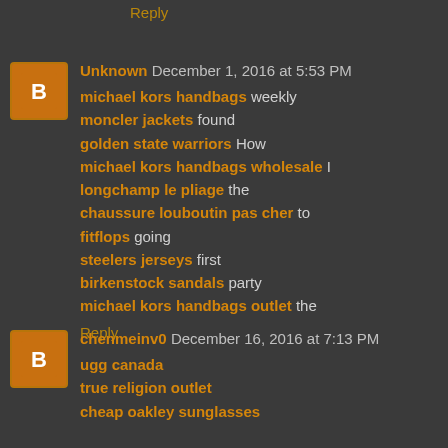Reply
Unknown December 1, 2016 at 5:53 PM
michael kors handbags weekly moncler jackets found golden state warriors How michael kors handbags wholesale I longchamp le pliage the chaussure louboutin pas cher to fitflops going steelers jerseys first birkenstock sandals party michael kors handbags outlet the
Reply
chenmeinv0 December 16, 2016 at 7:13 PM
ugg canada true religion outlet cheap oakley sunglasses